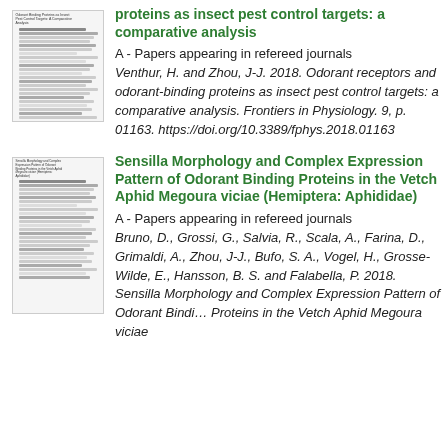[Figure (illustration): Thumbnail of journal article page for odorant receptors and odorant-binding proteins paper]
proteins as insect pest control targets: a comparative analysis
A - Papers appearing in refereed journals
Venthur, H. and Zhou, J-J. 2018. Odorant receptors and odorant-binding proteins as insect pest control targets: a comparative analysis. Frontiers in Physiology. 9, p. 01163. https://doi.org/10.3389/fphys.2018.01163
[Figure (illustration): Thumbnail of journal article page for Sensilla Morphology and Complex Expression Pattern paper]
Sensilla Morphology and Complex Expression Pattern of Odorant Binding Proteins in the Vetch Aphid Megoura viciae (Hemiptera: Aphididae)
A - Papers appearing in refereed journals
Bruno, D., Grossi, G., Salvia, R., Scala, A., Farina, D., Grimaldi, A., Zhou, J-J., Bufo, S. A., Vogel, H., Grosse-Wilde, E., Hansson, B. S. and Falabella, P. 2018. Sensilla Morphology and Complex Expression Pattern of Odorant Binding Proteins in the Vetch Aphid Megoura viciae